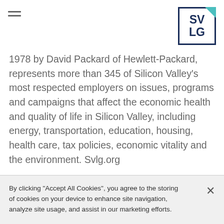[Figure (logo): SVLG logo: dark navy blue square border with SV over LG text in bold navy, teal triangle accent at top-right corner]
1978 by David Packard of Hewlett-Packard, represents more than 345 of Silicon Valley's most respected employers on issues, programs and campaigns that affect the economic health and quality of life in Silicon Valley, including energy, transportation, education, housing, health care, tax policies, economic vitality and the environment. Svlg.org
Contact: Pam Kelly
By clicking "Accept All Cookies", you agree to the storing of cookies on your device to enhance site navigation, analyze site usage, and assist in our marketing efforts.